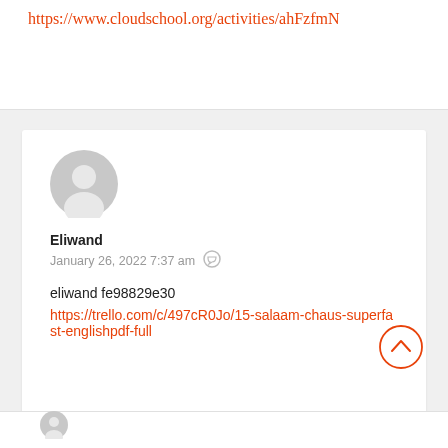https://www.cloudschool.org/activities/ahFzfmN
[Figure (illustration): Generic gray user avatar circle icon]
Eliwand
January 26, 2022 7:37 am
eliwand fe98829e30
https://trello.com/c/497cR0Jo/15-salaam-chaus-superfast-englishpdf-full